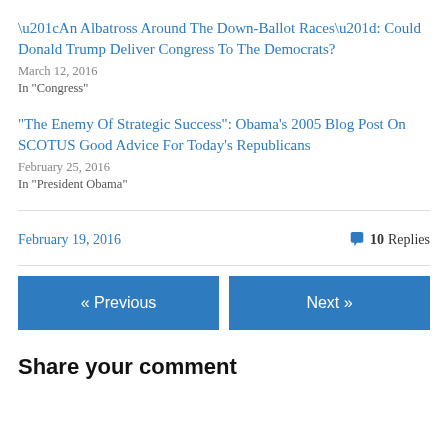“An Albatross Around The Down-Ballot Races”: Could Donald Trump Deliver Congress To The Democrats?
March 12, 2016
In “Congress”
“The Enemy Of Strategic Success”: Obama’s 2005 Blog Post On SCOTUS Good Advice For Today’s Republicans
February 25, 2016
In “President Obama”
February 19, 2016
10 Replies
« Previous
Next »
Share your comment